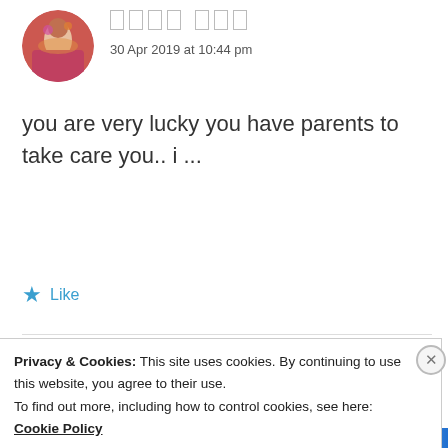[Figure (photo): Circular avatar of a woman in colorful traditional dress]
[Figure (other): Redacted/blurred username shown as rectangular blocks]
30 Apr 2019 at 10:44 pm
you are very lucky you have parents to take care you.. i ...
★ Like
[Figure (photo): Circular avatar of a person with dark hair on brown/mauve background]
ZEALOUS HOMO SAPIENS
30 Apr 2019 at 10:49 pm
Privacy & Cookies: This site uses cookies. By continuing to use this website, you agree to their use.
To find out more, including how to control cookies, see here: Cookie Policy
Close and accept